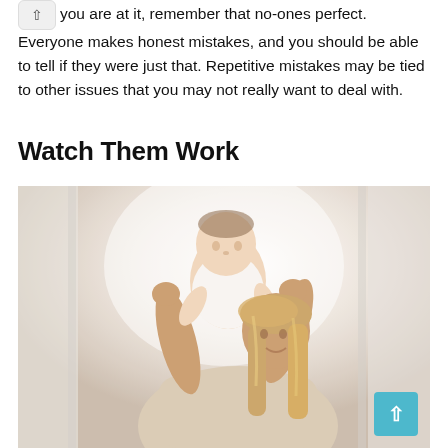you are at it, remember that no-ones perfect. Everyone makes honest mistakes, and you should be able to tell if they were just that. Repetitive mistakes may be tied to other issues that you may not really want to deal with.
Watch Them Work
[Figure (photo): A woman with long blonde hair holding up a baby in white clothing, their faces close together in an affectionate moment. Bright, airy background with soft natural light.]